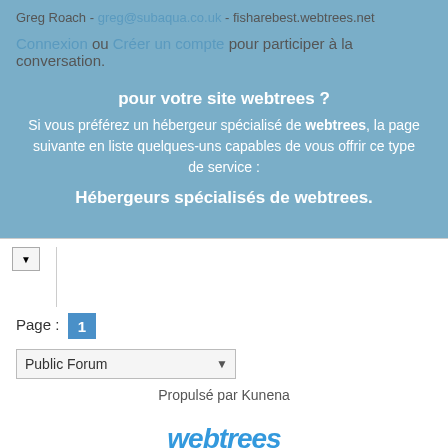Greg Roach - greg@subaqua.co.uk - fisharebest.webtrees.net
Connexion ou Créer un compte pour participer à la conversation.
pour votre site webtrees ? Si vous préférez un hébergeur spécialisé de webtrees, la page suivante en liste quelques-uns capables de vous offrir ce type de service :
Hébergeurs spécialisés de webtrees.
Page : 1
Public Forum
Propulsé par Kunena
[Figure (logo): webtrees logo in blue italic bold text]
Powered by Joomla!® and Hosted by Tiger Technologies Cookie Policy